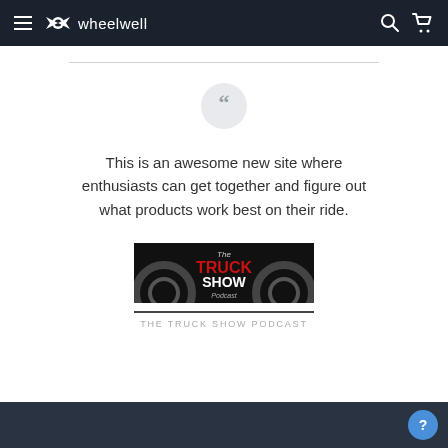wheelwell — navigation header with hamburger menu, logo, search and cart icons
[Figure (screenshot): The Truck Show Podcast logo — dark background with tire imagery and red text reading 'The TRUCK SHOW Podcast']
This is an awesome new site where enthusiasts can get together and figure out what products work best on their ride.
THE TRUCK SHOW PODCAST
bottom navigation bar with help button